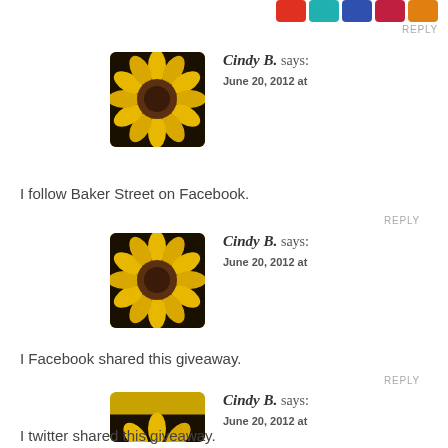[Figure (screenshot): Social sharing icon buttons (red, teal, blue, red/pink, orange) at top right with REPLY link below them]
[Figure (photo): Sunflower avatar image for Cindy B.]
Cindy B. says:
June 20, 2012 at
I follow Baker Street on Facebook.
REPLY
[Figure (photo): Sunflower avatar image for Cindy B.]
Cindy B. says:
June 20, 2012 at
I Facebook shared this giveaway.
REPLY
[Figure (photo): Sunflower avatar image for Cindy B.]
Cindy B. says:
June 20, 2012 at
I twitter shared this giveaway.